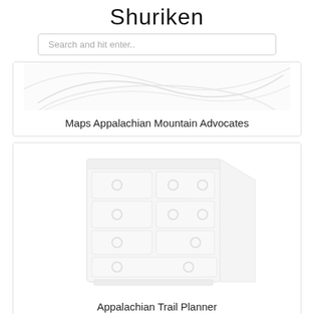Shuriken
Search and hit enter..
[Figure (illustration): Partially visible map image with curved lines, cropped at top, belonging to Maps Appalachian Mountain Advocates card]
Maps Appalachian Mountain Advocates
[Figure (illustration): Illustration of a white chest of drawers with circular handles on multiple drawers, slightly blurred]
Appalachian Trail Planner